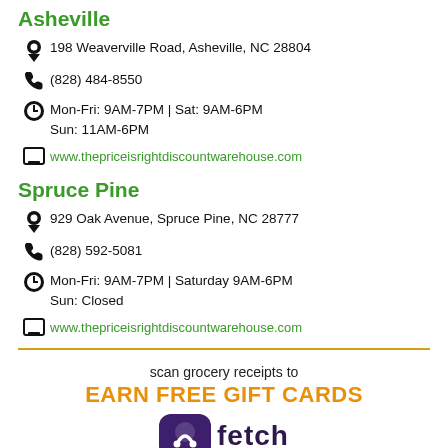Asheville
198 Weaverville Road, Asheville, NC 28804
(828) 484-8550
Mon-Fri: 9AM-7PM | Sat: 9AM-6PM
Sun: 11AM-6PM
www.thepriceisrightdiscountwarehouse.com
Spruce Pine
929 Oak Avenue, Spruce Pine, NC 28777
(828) 592-5081
Mon-Fri: 9AM-7PM | Saturday 9AM-6PM
Sun: Closed
www.thepriceisrightdiscountwarehouse.com
scan grocery receipts to
EARN FREE GIFT CARDS
[Figure (logo): Fetch rewards app logo with purple rounded square icon and 'fetch' wordmark]